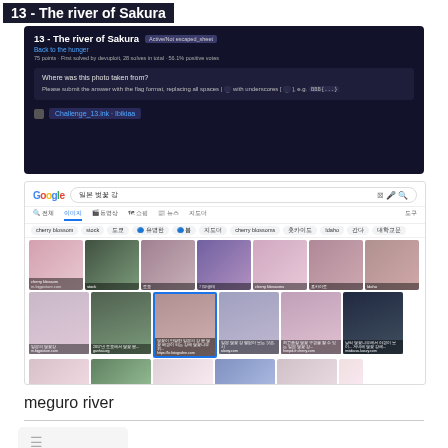13 - The river of Sakura
[Figure (screenshot): Dark-themed CTF challenge page titled '13 - The river of Sakura' with badge, back link, point info, a question asking 'Where was this photo taken from?', submission instructions, and a file link 'Challenge_13.lnk - Ibikiaa']
[Figure (screenshot): Google Images search results page with Korean text query showing cherry blossom river photos including a highlighted image of a river lined with sakura trees]
meguro river
Log Analysis
Part 1 - Ingress